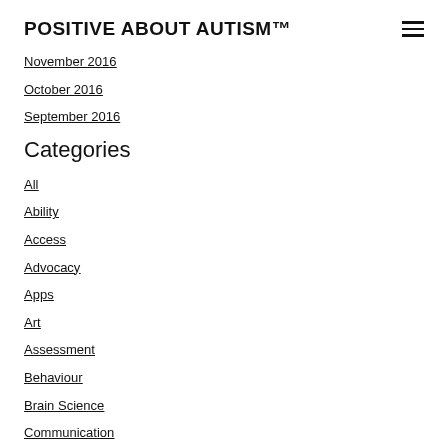POSITIVE ABOUT AUTISM™
November 2016
October 2016
September 2016
Categories
All
Ability
Access
Advocacy
Apps
Art
Assessment
Behaviour
Brain Science
Communication
CPD
Diagnosis